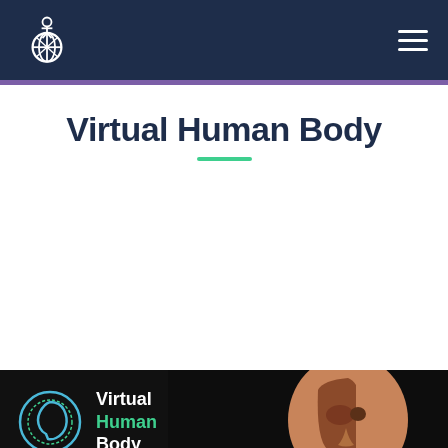Virtual Human Body - Navigation bar with logo and hamburger menu
Virtual Human Body
[Figure (screenshot): Dark promotional panel for Virtual Human Body app featuring an anatomical 3D rendering of a male figure showing muscles and internal structures on the right side, with Virtual Human Body logo (circular head icon outline in teal/blue), text 'Virtual Human Body', a play button with 'WATCH THE VIDEO' text, and a purple 'REQUEST A TRIAL' button on a black background.]